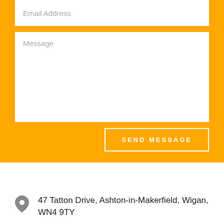[Figure (screenshot): Email Address input field on yellow background]
[Figure (screenshot): Message textarea on yellow background]
SEND MESSAGE
47 Tatton Drive, Ashton-in-Makerfield, Wigan, WN4 9TY
07400 776 007 (partial)